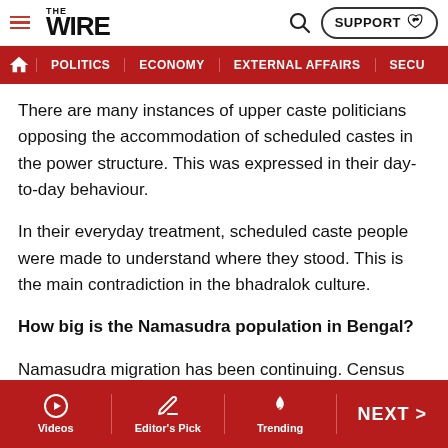THE WIRE — navigation bar with Politics, Economy, External Affairs, Security
There are many instances of upper caste politicians opposing the accommodation of scheduled castes in the power structure. This was expressed in their day-to-day behaviour.
In their everyday treatment, scheduled caste people were made to understand where they stood. This is the main contradiction in the bhadralok culture.
How big is the Namasudra population in Bengal?
Namasudra migration has been continuing. Census puts the Namasudra population at about 11% of the total West Bengal population in 1971. By 2001 Census, the number
Videos | Editor's Pick | Trending | NEXT >